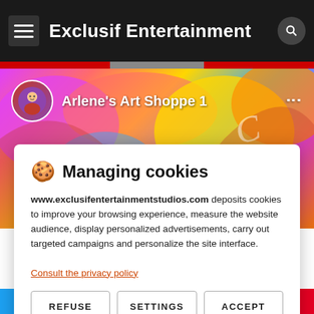Exclusif Entertainment
[Figure (screenshot): Colorful art background with profile row showing Arlene's Art Shoppe 1]
🍪 Managing cookies
www.exclusifentertainmentstudios.com deposits cookies to improve your browsing experience, measure the website audience, display personalized advertisements, carry out targeted campaigns and personalize the site interface.
Consult the privacy policy
REFUSE
SETTINGS
ACCEPT
Social media bar: Twitter, YouTube, Facebook, LinkedIn, Instagram, Pinterest